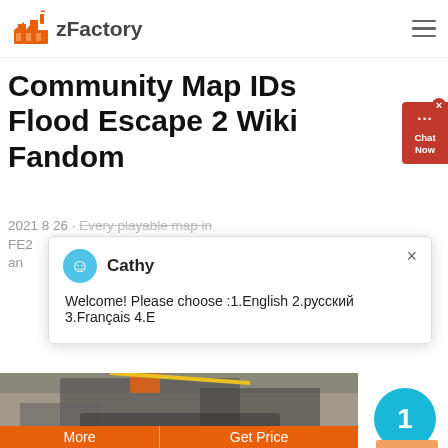zFactory
Community Map IDs Flood Escape 2 Wiki Fandom
2021 8 26 · Every playable map in FE2 an
[Figure (screenshot): Chat popup with agent named Cathy. Message: Welcome! Please choose :1.English 2.русский 3.Français 4.E]
[Figure (photo): Industrial/construction machinery photo - crusher or mining equipment]
[Figure (photo): Second industrial/quarry site photo partially visible at bottom]